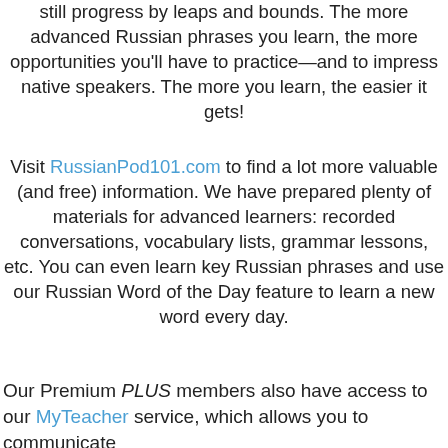still progress by leaps and bounds. The more advanced Russian phrases you learn, the more opportunities you'll have to practice—and to impress native speakers. The more you learn, the easier it gets!
Visit RussianPod101.com to find a lot more valuable (and free) information. We have prepared plenty of materials for advanced learners: recorded conversations, vocabulary lists, grammar lessons, etc. You can even learn key Russian phrases and use our Russian Word of the Day feature to learn a new word every day.
Our Premium PLUS members also have access to our MyTeacher service, which allows you to communicate